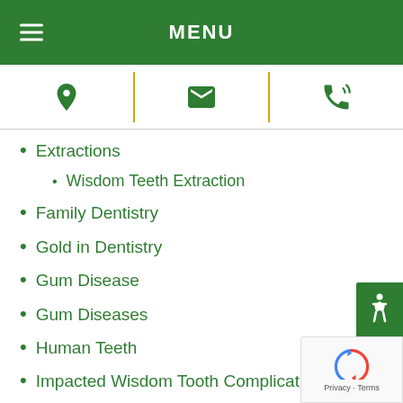MENU
Extractions
Wisdom Teeth Extraction
Family Dentistry
Gold in Dentistry
Gum Disease
Gum Diseases
Human Teeth
Impacted Wisdom Tooth Complications
Invisalign
Night Guard
Oral Cancer Risk Factors.
Oral Hygiene
Orthodontics
Partial Denture
Payment Plans